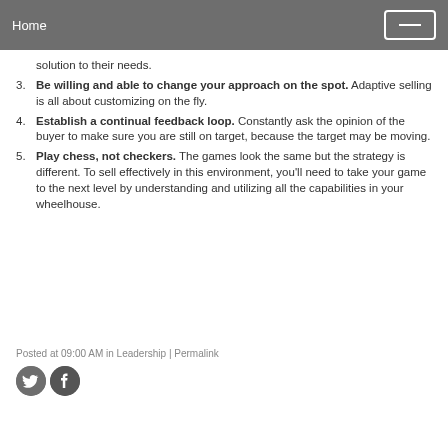Home
solution to their needs.
Be willing and able to change your approach on the spot. Adaptive selling is all about customizing on the fly.
Establish a continual feedback loop. Constantly ask the opinion of the buyer to make sure you are still on target, because the target may be moving.
Play chess, not checkers. The games look the same but the strategy is different. To sell effectively in this environment, you'll need to take your game to the next level by understanding and utilizing all the capabilities in your wheelhouse.
Posted at 09:00 AM in Leadership | Permalink
[Figure (illustration): Twitter and Facebook social media icons]